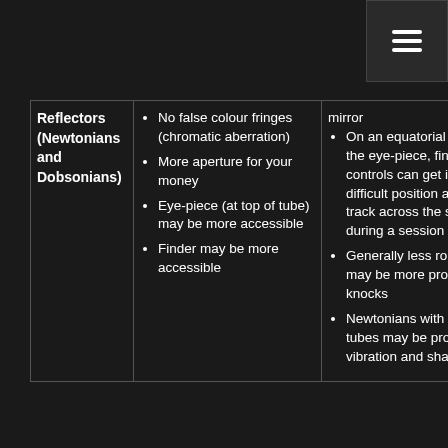Menu/hamburger icon
| Type | Advantages | Disadvantages |
| --- | --- | --- |
| Reflectors (Newtonians and Dobsonians) | No false colour fringes (chromatic aberration)
More aperture for your money
Eye-piece (at top of tube) may be more accessible
Finder may be more accessible | ...mirror
On an equatorial mount, the eye-piece, finder, and controls can get into a difficult position as you track across the sky during a session
Generally less robust — may be more prone to knocks
Newtonians with longer tubes may be prone to vibration and shaking |